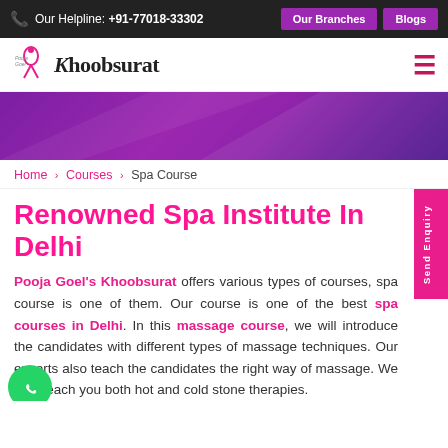Our Helpline: +91-77018-33302 | Our Branches | Blogs
[Figure (logo): Pooja Goel Khoobsurat logo with stylized figure and serif brand name]
[Figure (illustration): Purple gradient hero banner background]
Home > Courses > Spa Course
Renowned Spa Institute In Delhi
Pooja Goel's Khoobsurat offers various types of courses, spa course is one of them. Our course is one of the best spa courses in Delhi. In this massage course, we will introduce the candidates with different types of massage techniques. Our experts also teach the candidates the right way of massage. We also teach you both hot and cold stone therapies.